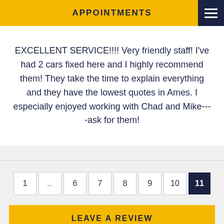APPOINTMENTS
EXCELLENT SERVICE!!!! Very friendly staff! I've had 2 cars fixed here and I highly recommend them! They take the time to explain everything and they have the lowest quotes in Ames. I especially enjoyed working with Chad and Mike----ask for them!
1 ... 6 7 8 9 10 11
LEAVE A REVIEW